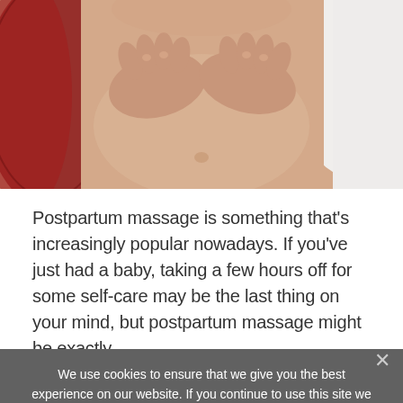[Figure (photo): Close-up photo of hands performing a massage on a person's abdomen/torso area. Red fabric visible on left side, white towel on right side.]
Postpartum massage is something that's increasingly popular nowadays. If you've just had a baby, taking a few hours off for some self-care may be the last thing on your mind, but postpartum massage might be exactly
We use cookies to ensure that we give you the best experience on our website. If you continue to use this site we will assume that you are happy with it.
Ok